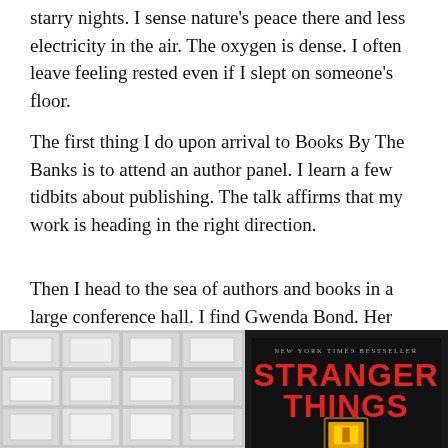starry nights. I sense nature’s peace there and less electricity in the air. The oxygen is dense. I often leave feeling rested even if I slept on someone’s floor.
The first thing I do upon arrival to Books By The Banks is to attend an author panel. I learn a few tidbits about publishing. The talk affirms that my work is heading in the right direction.
Then I head to the sea of authors and books in a large conference hall. I find Gwenda Bond. Her new book is the prequel to Stranger Things. [How cool is that?! We LOVE the Netflix show Stranger Things at our house!]
[Figure (photo): Interior photo of a large conference hall ceiling with grid of ceiling tiles and recessed light panels]
[Figure (photo): Cover of the book Stranger Things (New York Times Bestseller), with red title text on dark background and a glowing door image]